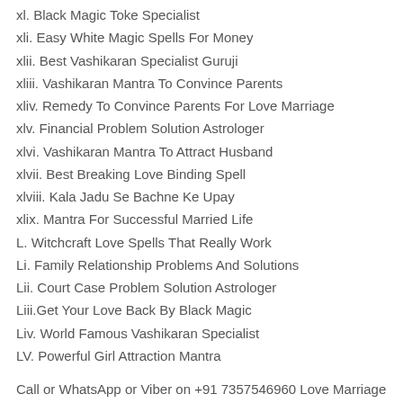xl. Black Magic Toke Specialist
xli. Easy White Magic Spells For Money
xlii. Best Vashikaran Specialist Guruji
xliii. Vashikaran Mantra To Convince Parents
xliv. Remedy To Convince Parents For Love Marriage
xlv. Financial Problem Solution Astrologer
xlvi. Vashikaran Mantra To Attract Husband
xlvii. Best Breaking Love Binding Spell
xlviii. Kala Jadu Se Bachne Ke Upay
xlix. Mantra For Successful Married Life
L. Witchcraft Love Spells That Really Work
Li. Family Relationship Problems And Solutions
Lii. Court Case Problem Solution Astrologer
Liii.Get Your Love Back By Black Magic
Liv. World Famous Vashikaran Specialist
LV. Powerful Girl Attraction Mantra
Call or WhatsApp or Viber on +91 7357546960 Love Marriage